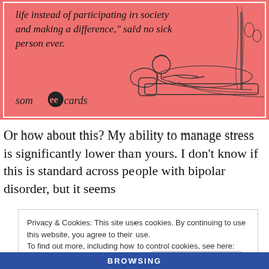[Figure (illustration): Someecards ecard on salmon/pink background showing a woman reclining on a chaise lounge with vintage illustration style. Text reads: 'life instead of participating in society and making a difference,' said no sick person ever. Someecards logo at bottom left.]
Or how about this? My ability to manage stress is significantly lower than yours. I don't know if this is standard across people with bipolar disorder, but it seems
Privacy & Cookies: This site uses cookies. By continuing to use this website, you agree to their use.
To find out more, including how to control cookies, see here: Cookie Policy
Close and accept